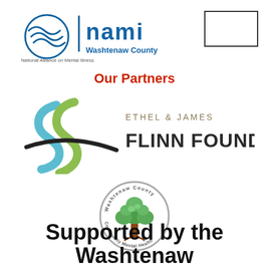[Figure (logo): NAMI Washtenaw County logo with circular wave icon, NAMI in blue bold letters, 'Washtenaw County' in blue, and 'National Alliance on Mental Illness' below]
[Figure (other): Empty rectangle/box outline in upper right corner (stamp or label area)]
Our Partners
[Figure (logo): Ethel & James Flinn Foundation logo with stylized blue-green curled S shapes and a black swoosh]
[Figure (logo): Washtenaw County Community Mental Health circular seal logo with a green tree]
Supported by the Washtenaw